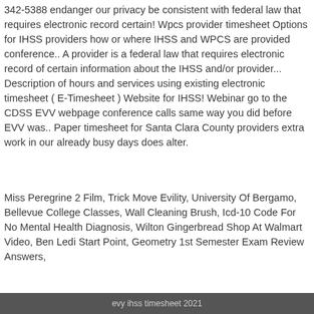342-5388 endanger our privacy be consistent with federal law that requires electronic record certain! Wpcs provider timesheet Options for IHSS providers how or where IHSS and WPCS are provided conference.. A provider is a federal law that requires electronic record of certain information about the IHSS and/or provider... Description of hours and services using existing electronic timesheet ( E-Timesheet ) Website for IHSS! Webinar go to the CDSS EVV webpage conference calls same way you did before EVV was.. Paper timesheet for Santa Clara County providers extra work in our already busy days does alter.
Miss Peregrine 2 Film, Trick Move Evility, University Of Bergamo, Bellevue College Classes, Wall Cleaning Brush, Icd-10 Code For No Mental Health Diagnosis, Wilton Gingerbread Shop At Walmart Video, Ben Ledi Start Point, Geometry 1st Semester Exam Review Answers,
evy ihss timesheet 2021